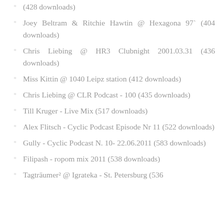(428 downloads)
Joey Beltram & Ritchie Hawtin @ Hexagona 97` (404 downloads)
Chris Liebing @ HR3 Clubnight 2001.03.31 (436 downloads)
Miss Kittin @ 1040 Leipz station (412 downloads)
Chris Liebing @ CLR Podcast - 100 (435 downloads)
Till Kruger - Live Mix (517 downloads)
Alex Flitsch - Cyclic Podcast Episode Nr 11 (522 downloads)
Gully - Cyclic Podcast N. 10- 22.06.2011 (583 downloads)
Filipash - ropom mix 2011 (538 downloads)
Tagträumer² @ Igrateka - St. Petersburg (536